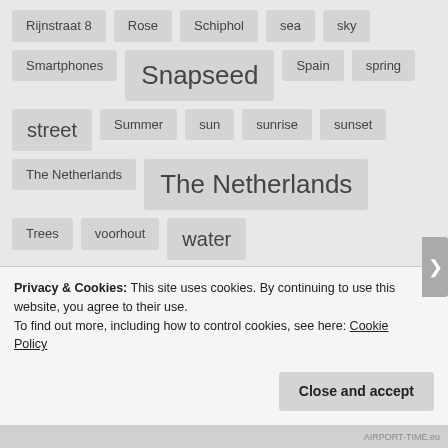Rijnstraat 8
Rose
Schiphol
sea
sky
Smartphones
Snapseed
Spain
spring
street
Summer
sun
sunrise
sunset
The Netherlands
The Netherlands
Trees
voorhout
water
Weekly Photo Challenge
Privacy & Cookies: This site uses cookies. By continuing to use this website, you agree to their use. To find out more, including how to control cookies, see here: Cookie Policy
Close and accept